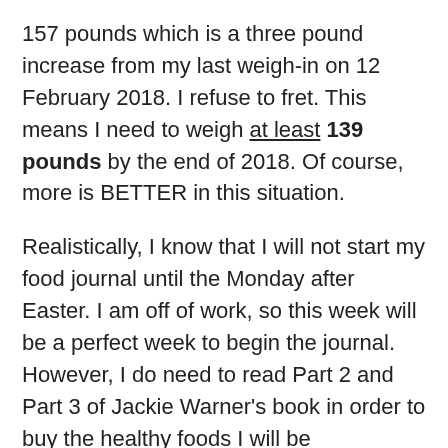157 pounds which is a three pound increase from my last weigh-in on 12 February 2018. I refuse to fret. This means I need to weigh at least 139 pounds by the end of 2018. Of course, more is BETTER in this situation.
Realistically, I know that I will not start my food journal until the Monday after Easter. I am off of work, so this week will be a perfect week to begin the journal. However, I do need to read Part 2 and Part 3 of Jackie Warner's book in order to buy the healthy foods I will be implementing in my diet and to create an exercise schedule. Tomorrow, I start walking in the evenings after dinner and will begin keeping an exercise log, as well.
On 19 March 2018, I will again participate in Oprah and Deepak's Shedding the Weight Meditation. It is a free 21-Day Meditation. I thoroughly enjoy their meditation series.